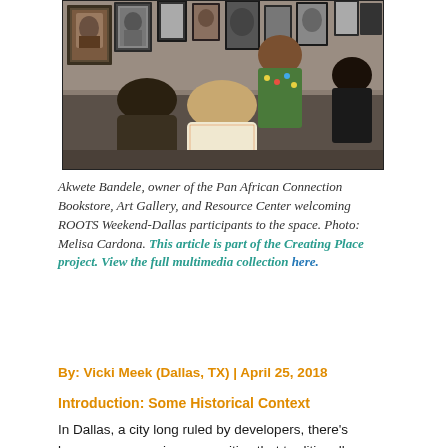[Figure (photo): Interior photo of a bookstore/gallery space with framed portraits and artwork on the walls. A person in a floral top gestures while speaking, seen from behind by attendees.]
Akwete Bandele, owner of the Pan African Connection Bookstore, Art Gallery, and Resource Center welcoming ROOTS Weekend-Dallas participants to the space. Photo: Melisa Cardona. This article is part of the Creating Place project. View the full multimedia collection here.
By: Vicki Meek (Dallas, TX) | April 25, 2018
Introduction: Some Historical Context
In Dallas, a city long ruled by developers, there’s been an upsurge in communities that traditionally were of color being targeted for “redevelopment” due to their proximity to the Center City. Not unlike many large urban cities in the 1960s, Dallas saw widespread